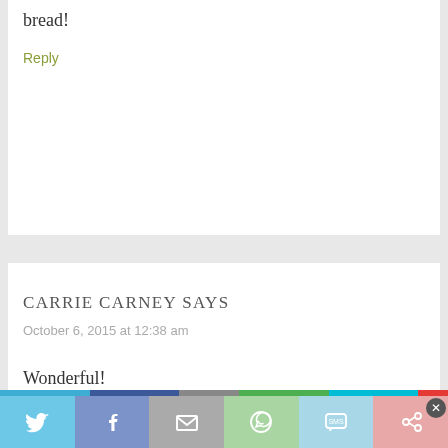bread!
Reply
CARRIE CARNEY SAYS
October 6, 2015 at 12:38 am
Wonderful!
Reply
[Figure (infographic): Social sharing bar with icons for Twitter, Facebook, Email, WhatsApp, SMS, and another service with a close button]